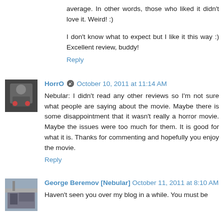average. In other words, those who liked it didn't love it. Weird! :)
I don't know what to expect but I like it this way :) Excellent review, buddy!
Reply
HorrO  October 10, 2011 at 11:14 AM
Nebular: I didn't read any other reviews so I'm not sure what people are saying about the movie. Maybe there is some disappointment that it wasn't really a horror movie. Maybe the issues were too much for them. It is good for what it is. Thanks for commenting and hopefully you enjoy the movie.
Reply
George Beremov [Nebular]  October 11, 2011 at 8:10 AM
Haven't seen you over my blog in a while. You must be